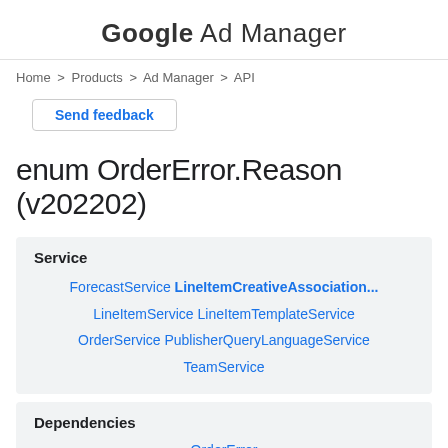Google Ad Manager
Home > Products > Ad Manager > API
Send feedback
enum OrderError.Reason (v202202)
| Service |
| --- |
| ForecastService LineItemCreativeAssociation... |
| LineItemService LineItemTemplateService |
| OrderService PublisherQueryLanguageService |
| TeamService |
| Dependencies |
| --- |
| OrderError |
| ▼ |
| OrderError.Reason |